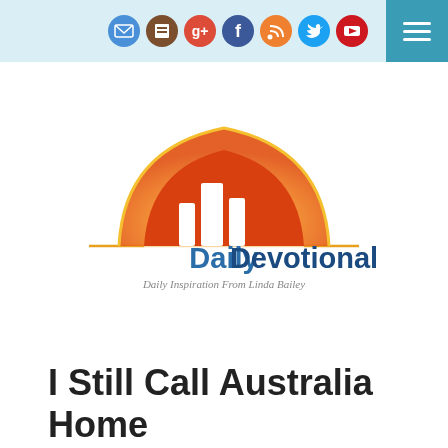Social icons and hamburger menu
[Figure (logo): DailyDevotional logo with orange/red arch graphic above text 'DailyDevotional' in blue, subtitle 'Daily Inspiration From Linda Bailey' in gray italic]
I Still Call Australia Home
After being away from home for a month it is always exciting to walk through the airport doors and see my family and friends who know me most.
Acts 28.1-16
Reference: v.15 The brothers there had heard that we were coming, and they